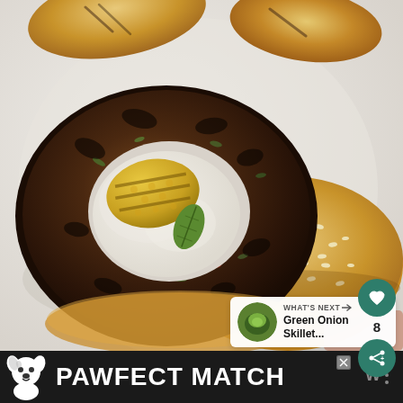[Figure (photo): Overhead view of a grilled veggie burger patty with white sauce and grilled pineapple on a sesame seed bun, placed on a white plate. Another bun is partially visible at the top of the image.]
[Figure (infographic): UI overlay: green heart icon button, number '8', and green share/forward icon button on the right side of the photo]
[Figure (infographic): What's Next panel in lower right corner showing a circular thumbnail of a green dish with text 'WHAT'S NEXT → Green Onion Skillet...']
[Figure (infographic): Bottom advertisement bar with black background showing a cartoon dog illustration and bold white text 'PAWFECT MATCH' with a close X button and menu dots/W logo on the right]